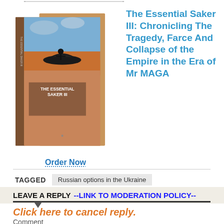[Figure (photo): Book cover photo of 'The Essential Saker III' showing two copies of the book - front and back, with a silhouette figure on a dark cloudy/orange sky background]
The Essential Saker III: Chronicling The Tragedy, Farce And Collapse of the Empire in the Era of Mr MAGA
Order Now
TAGGED
Russian options in the Ukraine
LEAVE A REPLY --LINK TO MODERATION POLICY--
Click here to cancel reply.
Comment